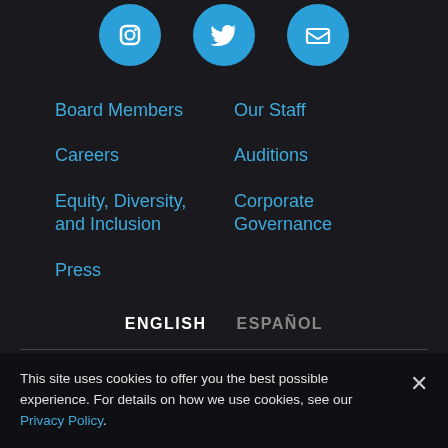[Figure (illustration): Three blue circular social media icon buttons partially visible at the top]
Board Members
Our Staff
Careers
Auditions
Equity, Diversity, and Inclusion
Corporate Governance
Press
ENGLISH   ESPAÑOL
© 2022 Los Angeles Philharmonic Association. All Rights Reserved.
This site uses cookies to offer you the best possible experience. For details on how we use cookies, see our Privacy Policy.